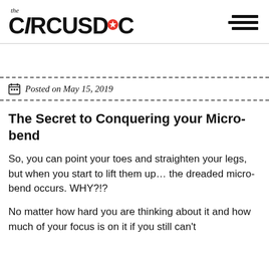the CIRCUSDOC
Posted on May 15, 2019
The Secret to Conquering your Micro-bend
So, you can point your toes and straighten your legs, but when you start to lift them up… the dreaded micro-bend occurs. WHY?!?
No matter how hard you are thinking about it and how much of your focus is on it if you still can't